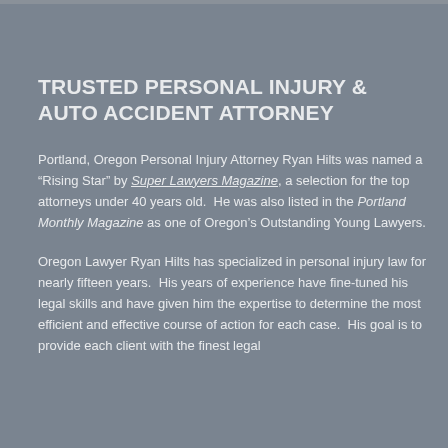TRUSTED PERSONAL INJURY & AUTO ACCIDENT ATTORNEY
Portland, Oregon Personal Injury Attorney Ryan Hilts was named a “Rising Star” by Super Lawyers Magazine, a selection for the top attorneys under 40 years old.  He was also listed in the Portland Monthly Magazine as one of Oregon’s Outstanding Young Lawyers.
Oregon Lawyer Ryan Hilts has specialized in personal injury law for nearly fifteen years.  His years of experience have fine-tuned his legal skills and have given him the expertise to determine the most efficient and effective course of action for each case.  His goal is to provide each client with the finest legal